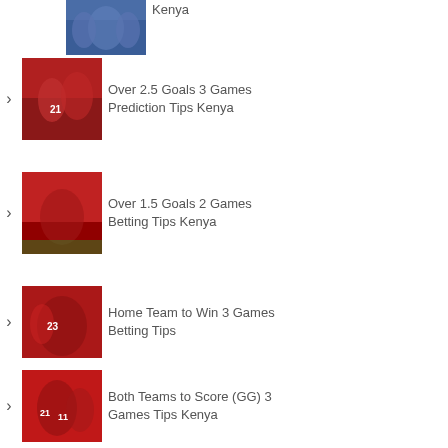[Figure (photo): Partial image of football players in blue jerseys at top of page]
Kenya
[Figure (photo): Football players in red jerseys celebrating]
Over 2.5 Goals 3 Games Prediction Tips Kenya
[Figure (photo): Football players in red jerseys on pitch with crowd]
Over 1.5 Goals 2 Games Betting Tips Kenya
[Figure (photo): Football players in red jerseys hugging in celebration]
Home Team to Win 3 Games Betting Tips
[Figure (photo): Football players in red jerseys group celebration]
Both Teams to Score (GG) 3 Games Tips Kenya